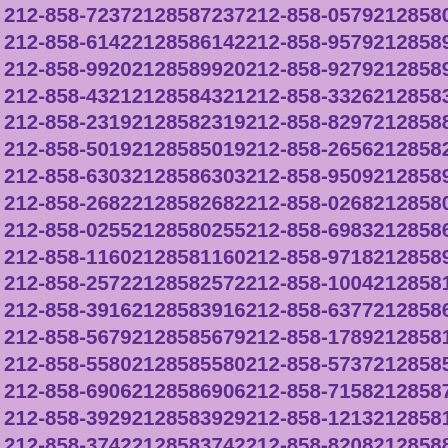212-858-7237 2128587237 212-858-0579 2128580579
212-858-6142 2128586142 212-858-9579 2128589579
212-858-9920 2128589920 212-858-9279 2128589279
212-858-4321 2128584321 212-858-3326 2128583326
212-858-2319 2128582319 212-858-8297 2128588297
212-858-5019 2128585019 212-858-2656 2128582656
212-858-6303 2128586303 212-858-9509 2128589509
212-858-2682 2128582682 212-858-0268 2128580268
212-858-0255 2128580255 212-858-6983 2128586983
212-858-1160 2128581160 212-858-9718 2128589718
212-858-2572 2128582572 212-858-1004 2128581004
212-858-3916 2128583916 212-858-6377 2128586377
212-858-5679 2128585679 212-858-1789 2128581789
212-858-5580 2128585580 212-858-5737 2128585737
212-858-6906 2128586906 212-858-7158 2128587158
212-858-3929 2128583929 212-858-1213 2128581213
212-858-3742 2128583742 212-858-8208 2128588208
212-858-1107 2128581107 212-858-0927 2128580927
212-858-7521 2128587521 212-858-7977 2128587977
212-858-5139 2128585139 212-858-2128 2128582128
212-858-9700 2128589700 212-858-7232 2128587232